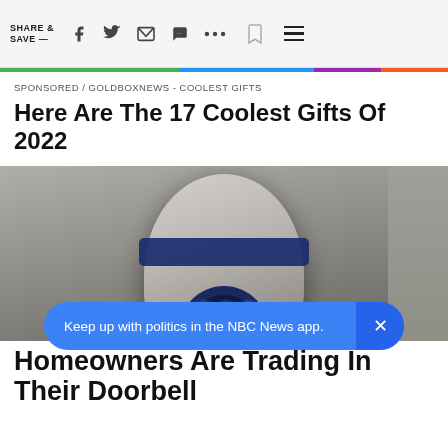SHARE & SAVE —
SPONSORED / GOLDBOXNEWS - COOLEST GIFTS
Here Are The 17 Coolest Gifts Of 2022
[Figure (photo): Close-up photograph of a white security camera device with LED lights pointing downward, mounted on a surface. The camera has a blue stripe and a circular lens housing with multiple white LED lights arranged in a pattern.]
Keep up with politics in the NBC News app.
SPO
Homeowners Are Trading In Their Doorbell